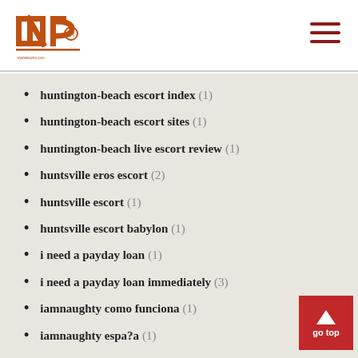INP logo and navigation menu
huntington-beach escort index (1)
huntington-beach escort sites (1)
huntington-beach live escort review (1)
huntsville eros escort (2)
huntsville escort (1)
huntsville escort babylon (1)
i need a payday loan (1)
i need a payday loan immediately (3)
iamnaughty como funciona (1)
iamnaughty espa?a (1)
iamnaughty italia (2)